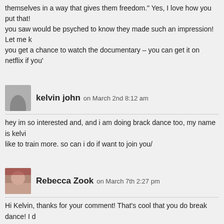themselves in a way that gives them freedom." Yes, I love how you put that! you saw would be psyched to know they made such an impression! Let me k you get a chance to watch the documentary – you can get it on netflix if you'
kelvin john on March 2nd 8:12 am
hey im so interested and, and i am doing brack dance too, my name is kelvin like to train more. so can i do if want to join you/
Rebecca Zook on March 7th 2:27 pm
Hi Kelvin, thanks for your comment! That's cool that you do break dance! I d actually, so I don't know how to help you train, but maybe this breakdance fo http://www.breakdanceforum.com good luck and have fun!